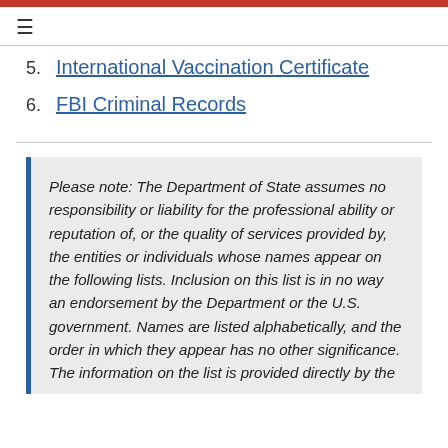5. International Vaccination Certificate
6. FBI Criminal Records
Please note: The Department of State assumes no responsibility or liability for the professional ability or reputation of, or the quality of services provided by, the entities or individuals whose names appear on the following lists. Inclusion on this list is in no way an endorsement by the Department or the U.S. government. Names are listed alphabetically, and the order in which they appear has no other significance. The information on the list is provided directly by the